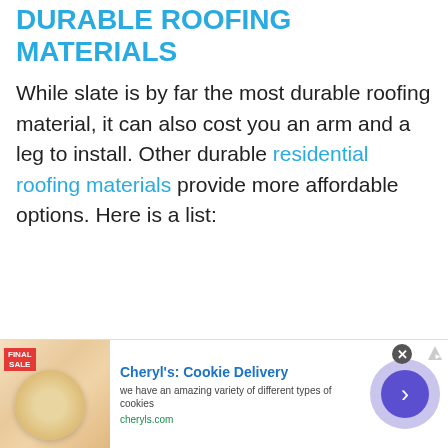DURABLE ROOFING MATERIALS
While slate is by far the most durable roofing material, it can also cost you an arm and a leg to install. Other durable residential roofing materials provide more affordable options. Here is a list:
[Figure (other): Advertisement banner for Cheryl's Cookie Delivery showing a cookie image, ad title 'Cheryl's: Cookie Delivery', description 'we have an amazing variety of different types of cookies', URL 'cheryls.com', a close button, and a forward arrow button.]